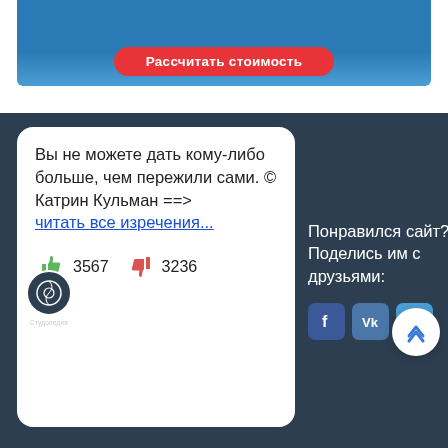[Figure (screenshot): Blue banner with red rounded button labeled 'Рассчитать стоимость']
[Figure (screenshot): Dark blue-grey section with a white card showing a Russian quote by Katrin Kulman, thumbs up count 3567 and thumbs down 3236, a link 'читать все изречения...', social sharing icons for Facebook, VK, Twitter, and a scroll-to-top button]
Вы не можете дать кому-либо больше, чем пережили сами. © Катрин Кульман ==> читать все изречения...
3567
3236
Понравился сайт? Поделись им с друзьями: